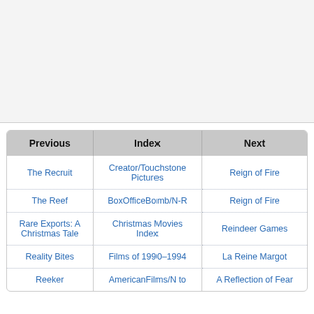[Figure (other): Blank gray area at top of page, likely an image placeholder]
| Previous | Index | Next |
| --- | --- | --- |
| The Recruit | Creator/Touchstone Pictures | Reign of Fire |
| The Reef | BoxOfficeBomb/N-R | Reign of Fire |
| Rare Exports: A Christmas Tale | Christmas Movies Index | Reindeer Games |
| Reality Bites | Films of 1990–1994 | La Reine Margot |
| Reeker | AmericanFilms/N to | A Reflection of Fear |